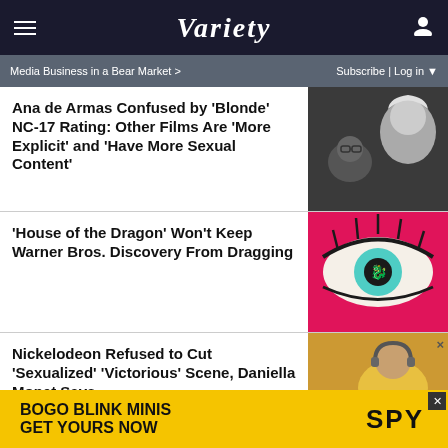VARIETY
Media Business in a Bear Market >   Subscribe | Log in
Ana de Armas Confused by 'Blonde' NC-17 Rating: Other Films Are 'More Explicit' and 'Have More Sexual Content'
[Figure (photo): Black and white photo of a blonde woman resembling Marilyn Monroe with another person in glasses]
'House of the Dragon' Won't Keep Warner Bros. Discovery From Dragging
[Figure (illustration): Stylized pink/red illustration of a large eye with the House of the Dragon logo (three-headed dragon) in the iris]
Nickelodeon Refused to Cut 'Sexualized' 'Victorious' Scene, Daniella Monet Says
[Figure (photo): Photo of a young woman with headphones in a yellow outfit]
[Figure (other): Advertisement: BOGO BLINK MINIS GET YOURS NOW - SPY]